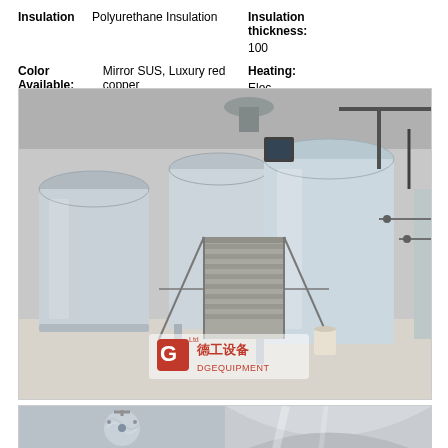Insulation: Polyurethane Insulation
Insulation thickness: 100
Color Available: Mirror SUS, Luxury red copper
Heating: Elec... hea...
[Figure (photo): Photo of stainless steel brewery equipment including large brewing tanks, a staircase platform, and piping in an industrial brewery facility. Watermark shows DG Equipment logo with Chinese text 德工设备 and DGEQUIPMENT.]
[Figure (photo): Two close-up photos of stainless steel brewery tank interiors/details split side by side.]